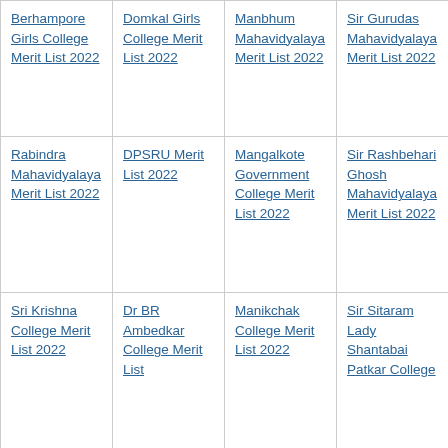Berhampore Girls College Merit List 2022
Domkal Girls College Merit List 2022
Manbhum Mahavidyalaya Merit List 2022
Sir Gurudas Mahavidyalaya Merit List 2022
Rabindra Mahavidyalaya Merit List 2022
DPSRU Merit List 2022
Mangalkote Government College Merit List 2022
Sir Rashbehari Ghosh Mahavidyalaya Merit List 2022
Sri Krishna College Merit List 2022
Dr BR Ambedkar College Merit List
Manikchak College Merit List 2022
Sir Sitaram Lady Shantabai Patkar College